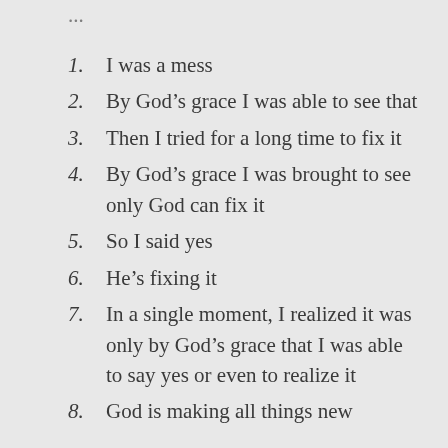1. I was a mess
2. By God’s grace I was able to see that
3. Then I tried for a long time to fix it
4. By God’s grace I was brought to see only God can fix it
5. So I said yes
6. He’s fixing it
7. In a single moment, I realized it was only by God’s grace that I was able to say yes or even to realize it
8. God is making all things new